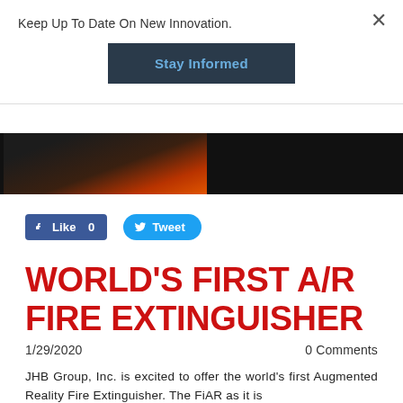Keep Up To Date On New Innovation.
[Figure (screenshot): Stay Informed button on dark background]
[Figure (photo): Partial image showing a fire extinguisher or person, dark background with red/orange color]
[Figure (screenshot): Facebook Like 0 button and Twitter Tweet button]
WORLD'S FIRST A/R FIRE EXTINGUISHER
1/29/2020
0 Comments
JHB Group, Inc. is excited to offer the world's first Augmented Reality Fire Extinguisher. The FiAR as it is